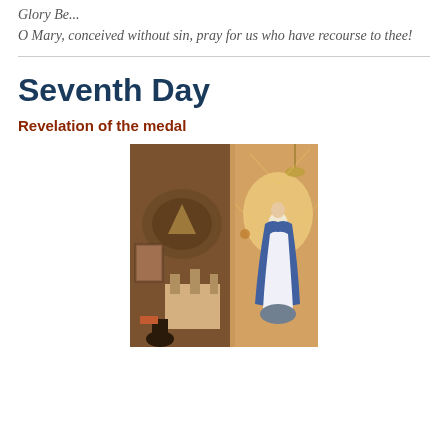Glory Be...
O Mary, conceived without sin, pray for us who have recourse to thee!
Seventh Day
Revelation of the medal
[Figure (illustration): Painting depicting the Chapel of the Rue du Bac with an apparition of the Virgin Mary standing on a globe, wearing a white robe and blue mantle, with golden light surrounding her. The left side shows the interior of the chapel with ornate altar and religious paintings.]